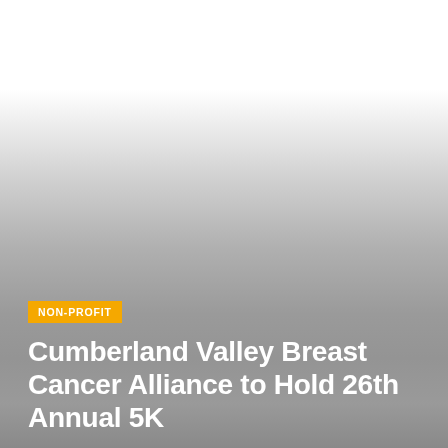[Figure (photo): Hero image with a gradient overlay fading from white at the top to dark gray at the bottom, likely an outdoor event or nature scene.]
NON-PROFIT
Cumberland Valley Breast Cancer Alliance to Hold 26th Annual 5K